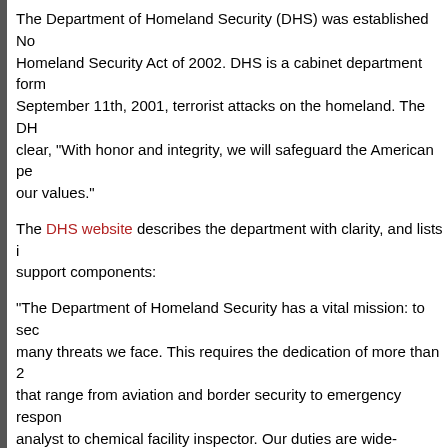The Department of Homeland Security (DHS) was established No... Homeland Security Act of 2002. DHS is a cabinet department form... September 11th, 2001, terrorist attacks on the homeland. The DH... clear, "With honor and integrity, we will safeguard the American pe... our values."
The DHS website describes the department with clarity, and lists i... support components:
"The Department of Homeland Security has a vital mission: to sec... many threats we face. This requires the dedication of more than 2... that range from aviation and border security to emergency respon... analyst to chemical facility inspector. Our duties are wide-ranging,... keeping America safe."
1. United States Customs and Border Protection (CBP)
2. Federal Emergency Management Agency (FEMA)
3. United States Immigration and Customs Enforcement (ICE)
4. Transportation Security Administration (TSA)
5. Science and Technology Directorate